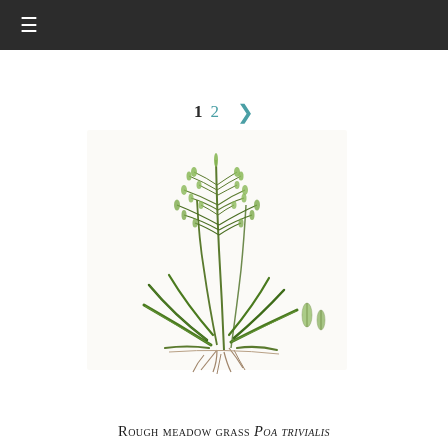≡
1  2  ›
[Figure (illustration): Botanical illustration of Rough meadow grass (Poa trivialis) showing a full plant with long narrow green leaves, branching panicle inflorescence, root system, and small detail drawings of individual florets at lower right.]
Rough meadow grass Poa trivialis